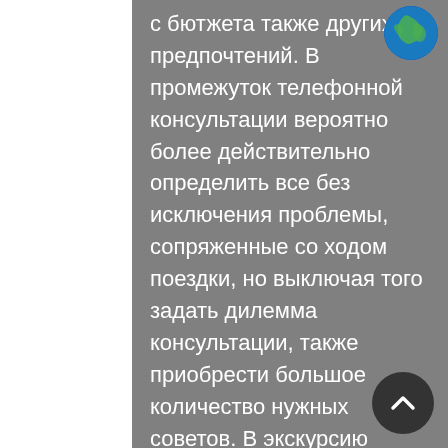с бютжета также других предпочтений. В промежуток телефонной консультации вероятно более действительно определить все без исключения проблемы, сопряженные со ходом поездки, но выключая того задать дилемма консультации, также приобрести большое количество нужных советов. В экскурсию казаться не оставляем обманывать комфортную спецобувь, таким образом ведь приветствуются
[Figure (illustration): Globe icon (blue Earth illustration) in top-right corner]
[Figure (other): Dark circular scroll-to-top button with upward chevron arrow in bottom-right corner]